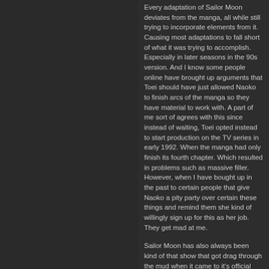Every adaptation of Sailor Moon deviates from the manga, all while still trying to incorporate elements from it. Causing most adaptations to fall short of what it was trying to accomplish. Especially in later seasons in the 90s version. And I know some people online have brought up arguments that Toei should have just allowed Naoko to finish arcs of the manga so they have material to work with. A part of me sort of agrees with this since instead of waiting, Toei opted instead to start production on the TV series in early 1992. When the manga had only finish its fourth chapter. Which resulted in problems such as massive filler. However, when I have bought up in the past to certain people that give Naoko a pity party over certain these things and remind them she kind of willingly sign up for this as her job. They get mad at me.
Sailor Moon has also always been kind of that show that got drag through the mud when it came to it's official english dubs. (the 90s adaptation has 3 total) It was first brought over to the western market In 1995 by Toei after DIC won a bidding war against Toon Makers for the rights to the show's first two seasons. If Toon Makers had won back then? Sailor moon would have been completely forgotten about over here in the west because of this monstrosity